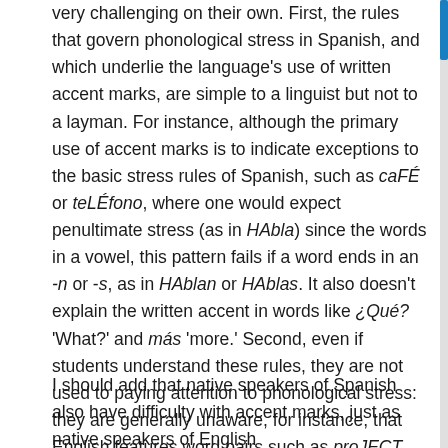very challenging on their own. First, the rules that govern phonological stress in Spanish, and which underlie the language's use of written accent marks, are simple to a linguist but not to a layman. For instance, although the primary use of accent marks is to indicate exceptions to the basic stress rules of Spanish, such as caFÉ or teLÉfono, where one would expect penultimate stress (as in HAbla) since the words in a vowel, this pattern fails if a word ends in an -n or -s, as in HAblan or HAblas. It also doesn't explain the written accent in words like ¿Qué? 'What?' and más 'more.' Second, even if students understand these rules, they are not used to paying attention to phonological stress: they are generally unaware, for instance, that English features word pairs such as proJECT (verb) and PROject (noun). So mastering this topic requires picking up an 'ear' for an aspect of language that one has blissfully ignored for years or even decades.
I should add that native speakers of Spanish also have difficulty with accent marks, just as native speakers of English